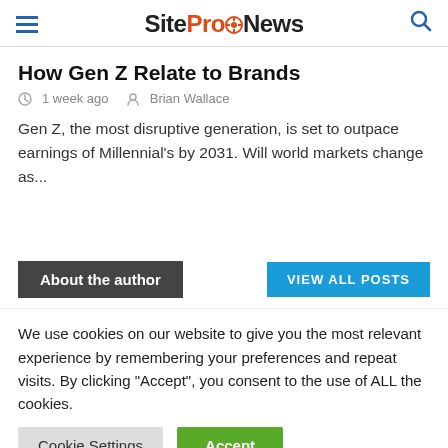SiteProNews
How Gen Z Relate to Brands
1 week ago  Brian Wallace
Gen Z, the most disruptive generation, is set to outpace earnings of Millennial's by 2031. Will world markets change as...
About the author
VIEW ALL POSTS
We use cookies on our website to give you the most relevant experience by remembering your preferences and repeat visits. By clicking “Accept”, you consent to the use of ALL the cookies.
Cookie Settings
Accept